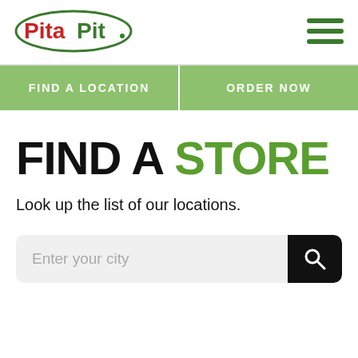[Figure (logo): Pita Pit logo with red 'Pita' text and green 'Pit' text inside a green oval outline]
[Figure (other): Hamburger menu icon with three green horizontal lines]
FIND A LOCATION
ORDER NOW
FIND A STORE
Look up the list of our locations.
Enter your city